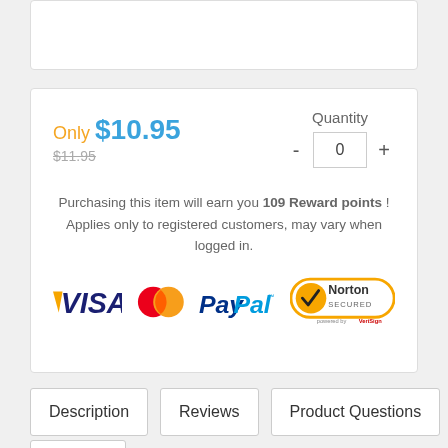[Figure (other): Top white card placeholder region]
Only $10.95
$11.95
Quantity
- 0 +
Purchasing this item will earn you 109 Reward points ! Applies only to registered customers, may vary when logged in.
[Figure (other): Payment logos: VISA, MasterCard, PayPal, Norton Secured powered by VeriSign]
Description
Reviews
Product Questions
Delivery